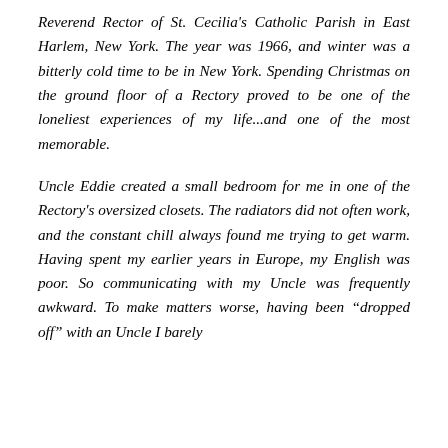Reverend Rector of St. Cecilia's Catholic Parish in East Harlem, New York. The year was 1966, and winter was a bitterly cold time to be in New York. Spending Christmas on the ground floor of a Rectory proved to be one of the loneliest experiences of my life...and one of the most memorable.
Uncle Eddie created a small bedroom for me in one of the Rectory's oversized closets. The radiators did not often work, and the constant chill always found me trying to get warm. Having spent my earlier years in Europe, my English was poor. So communicating with my Uncle was frequently awkward. To make matters worse, having been “dropped off” with an Uncle I barely